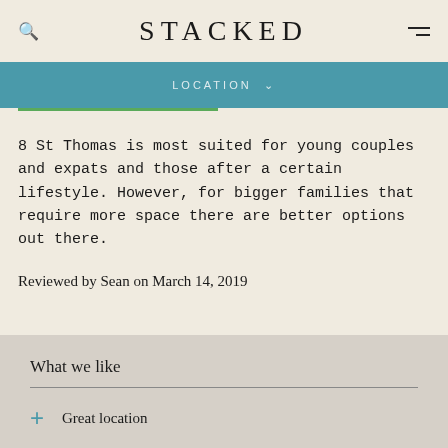STACKED
LOCATION
8 St Thomas is most suited for young couples and expats and those after a certain lifestyle. However, for bigger families that require more space there are better options out there.
Reviewed by Sean on March 14, 2019
What we like
Great location